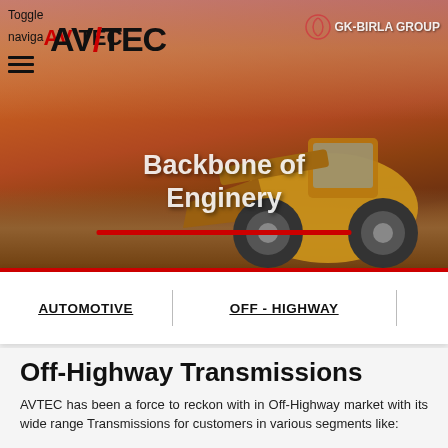[Figure (photo): Hero image of a yellow front-loader/wheel loader construction machine against a dramatic sunset sky background, with text overlay 'Backbone of Enginery' and a red underline bar. AVTEC and GK Birla Group logos visible in the upper portion. Navigation toggle and hamburger menu visible top-left.]
AUTOMOTIVE | OFF - HIGHWAY
Off-Highway Transmissions
AVTEC has been a force to reckon with in Off-Highway market with its wide range Transmissions for customers in various segments like: